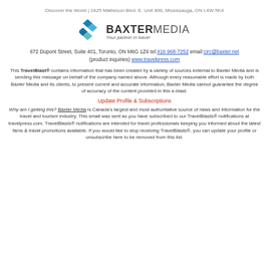Discover the World | 2425 Matheson Blvd. E. Unit 800, Mississauga, ON L4W 5K4
[Figure (logo): BaxterMedia logo with blue diamond shapes and tagline 'Your partner in travel']
672 Dupont Street, Suite 401, Toronto, ON M6G 1Z6 tel:416 968-7252 email:circ@baxter.net (product inquiries) www.travelpress.com
This TravelBlast® contains information that has been created by a variety of sources external to Baxter Media and is sending this message on behalf of the company named above. Although every reasonable effort is made by both Baxter Media and its clients, to present current and accurate information, Baxter Media cannot guarantee the degree of accuracy of the content provided in this e-blast.
Update Profile & Subscriptions
Why am I getting this? Baxter Media is Canada's largest and most authoritative source of news and information for the travel and tourism industry. This email was sent as you have subscribed to our TravelBlasts® notifications at travelpress.com. TravelBlasts® notifications are intended for travel professionals keeping you informed about the latest fams & travel promotions available. If you would like to stop receiving TravelBlasts®, you can update your profile or unsubscribe here to be removed from this list.